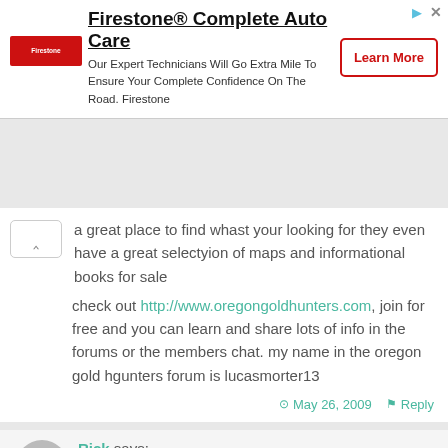[Figure (screenshot): Firestone Complete Auto Care advertisement banner with logo, headline, body text, and Learn More button]
a great place to find whast your looking for they even have a great selectyion of maps and informational books for sale
check out http://www.oregongoldhunters.com, join for free and you can learn and share lots of info in the forums or the members chat. my name in the oregon gold hgunters forum is lucasmorter13
May 26, 2009   Reply
Rick says:
Unfortunately, D-K does not always have the greatest reputation. While knowledgeable, they are very pushy salesmen and their prices can be higher then other places. I've been in at least four other prospecting stores now and they've all said to stay away from them, usually with a grimace of disgust. This is in addition to